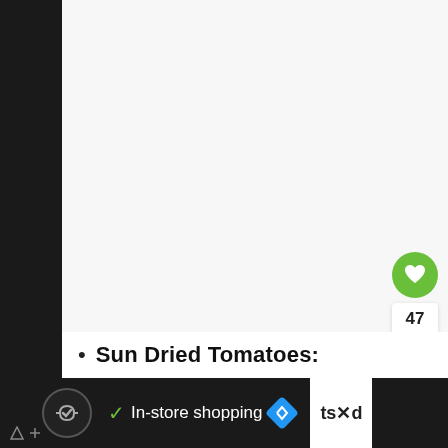[Figure (screenshot): White/light gray empty content area taking up most of the page, with a left dark sidebar strip]
[Figure (infographic): Green circular heart/like button with count 47 and share button below it on the right side]
[Figure (infographic): WHAT'S NEXT card showing a food thumbnail and text 'One-Pot Creamy...' with a right arrow]
Sun Dried Tomatoes:
[Figure (infographic): Bottom ad bar with dark background showing a logo, checkmark, 'In-store shopping' text, a navigation icon, and a close X button]